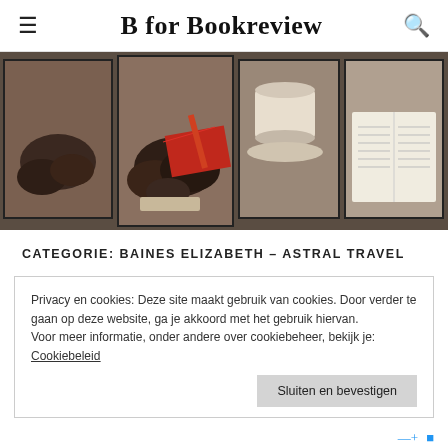B for Bookreview
[Figure (photo): Five-panel photo collage showing chocolate muffins on a plate, a red notebook with pencil, a white coffee cup on saucer, and an open book, arranged on a dark wooden table surface.]
CATEGORIE: BAINES ELIZABETH – ASTRAL TRAVEL
Privacy en cookies: Deze site maakt gebruik van cookies. Door verder te gaan op deze website, ga je akkoord met het gebruik hiervan.
Voor meer informatie, onder andere over cookiebeheer, bekijk je:
Cookiebeleid
Sluiten en bevestigen